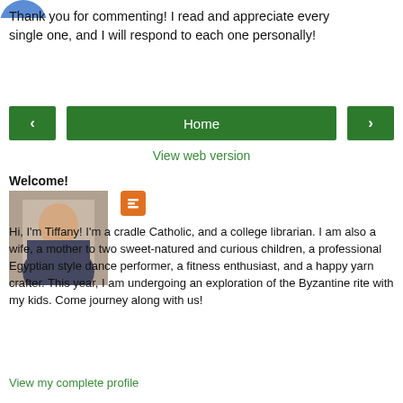[Figure (photo): Partial blue circular logo/avatar at top left]
Thank you for commenting! I read and appreciate every single one, and I will respond to each one personally!
[Figure (infographic): Navigation buttons: left arrow, Home, right arrow]
View web version
Welcome!
[Figure (photo): Profile photo of a young woman with dark hair]
Hi, I'm Tiffany! I'm a cradle Catholic, and a college librarian. I am also a wife, a mother to two sweet-natured and curious children, a professional Egyptian style dance performer, a fitness enthusiast, and a happy yarn crafter. This year, I am undergoing an exploration of the Byzantine rite with my kids. Come journey along with us!
View my complete profile